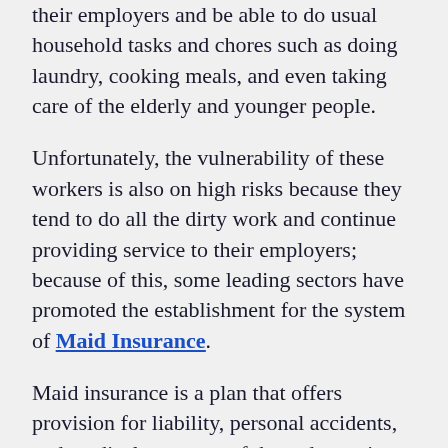their employers and be able to do usual household tasks and chores such as doing laundry, cooking meals, and even taking care of the elderly and younger people.
Unfortunately, the vulnerability of these workers is also on high risks because they tend to do all the dirty work and continue providing service to their employers; because of this, some leading sectors have promoted the establishment for the system of Maid Insurance.
Maid insurance is a plan that offers provision for liability, personal accidents, and medical coverage of these domestic helpers. This also doesn't just cover the necessities for the maids but also helps the employers for the budget used for the expenses of their employees; and to know more about the details regarding the benefits of having these